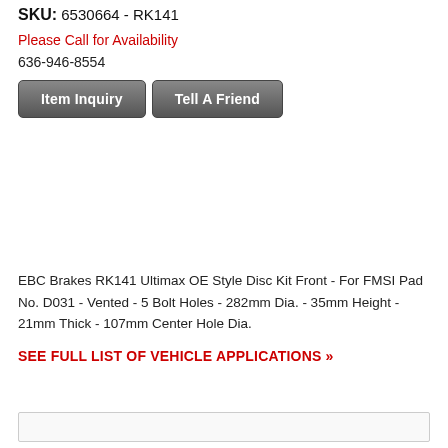SKU: 6530664 - RK141
Please Call for Availability
636-946-8554
Item Inquiry
Tell A Friend
EBC Brakes RK141 Ultimax OE Style Disc Kit Front - For FMSI Pad No. D031 - Vented - 5 Bolt Holes - 282mm Dia. - 35mm Height - 21mm Thick - 107mm Center Hole Dia.
SEE FULL LIST OF VEHICLE APPLICATIONS »